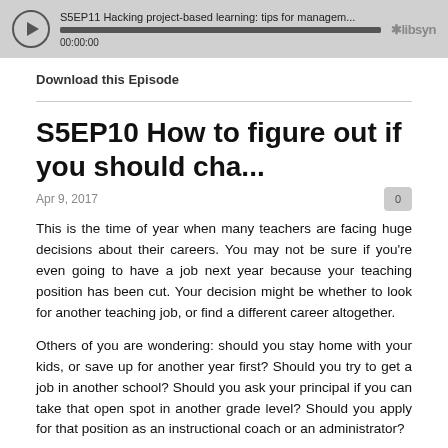[Figure (screenshot): Podcast audio player widget showing episode title 'S5EP11 Hacking project-based learning: tips for managem...' with progress bar showing 00:00:00 and Libsyn logo]
Download this Episode
S5EP10 How to figure out if you should cha...
Apr 9, 2017
This is the time of year when many teachers are facing huge decisions about their careers. You may not be sure if you're even going to have a job next year because your teaching position has been cut. Your decision might be whether to look for another teaching job, or find a different career altogether.
Others of you are wondering: should you stay home with your kids, or save up for another year first? Should you try to get a job in another school? Should you ask your principal if you can take that open spot in another grade level? Should you apply for that position as an instructional coach or an administrator?
In many ways, these are deeply personal questions that no one can advise you on. There are so many factors to consider and only you know them all, and understand the relative importance of them all.
So rather than give you advice about what to do, I'm going to teach you my